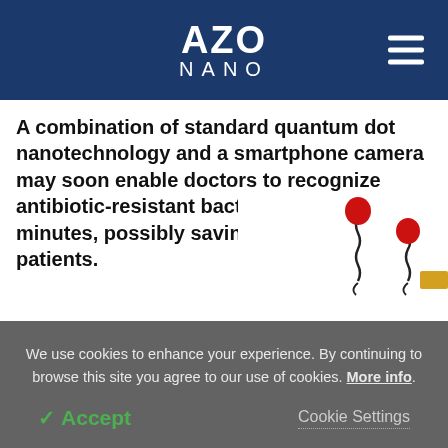AZO NANO
A combination of standard quantum dot nanotechnology and a smartphone camera may soon enable doctors to recognize antibiotic-resistant bacteria within 40 minutes, possibly saving the lives of many patients.
[Figure (illustration): Illustration of bacteria with flagella — two red-capped spiral bacteria figures on a light background]
We use cookies to enhance your experience. By continuing to browse this site you agree to our use of cookies. More info.
✓ Accept   Cookie Settings